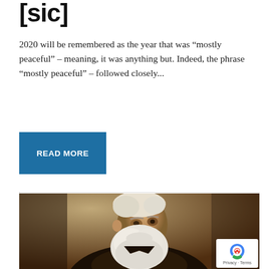[sic]
2020 will be remembered as the year that was “mostly peaceful” – meaning, it was anything but. Indeed, the phrase “mostly peaceful” – followed closely...
READ MORE
[Figure (photo): Sepia-toned portrait photograph of an elderly man with a large white beard and white hair, wearing a dark suit, looking slightly upward and to the right. A reCAPTCHA privacy badge appears in the bottom right corner.]